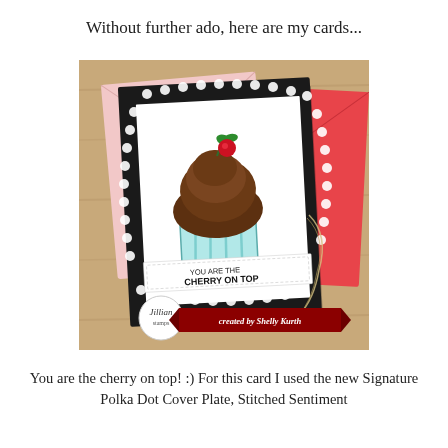Without further ado, here are my cards...
[Figure (photo): A handmade greeting card featuring a cupcake illustration with a cherry on top, surrounded by a black polka dot border. The card sits on pink and red envelopes on a wooden surface. A logo circle and a red banner reading 'created by Shelly Kurth' appear at the bottom of the photo.]
You are the cherry on top! :) For this card I used the new Signature Polka Dot Cover Plate, Stitched Sentiment